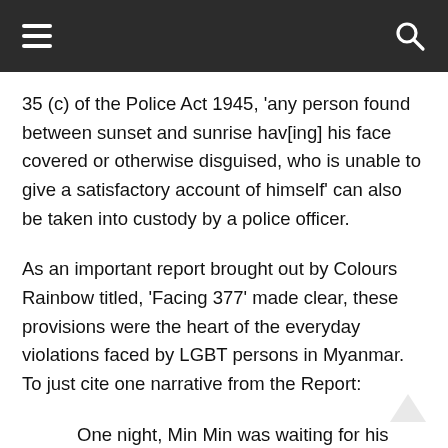≡ [hamburger menu] [search icon]
35 (c) of the Police Act 1945, 'any person found between sunset and sunrise hav[ing] his face covered or otherwise disguised, who is unable to give a satisfactory account of himself' can also be taken into custody by a police officer.
As an important report brought out by Colours Rainbow titled, 'Facing 377' made clear, these provisions were the heart of the everyday violations faced by LGBT persons in Myanmar. To just cite one narrative from the Report:
One night, Min Min was waiting for his friend on a Bench near a hospital when ze was arrested by the police. They charged hir with violating 1945 Police Act Section 35 [2]